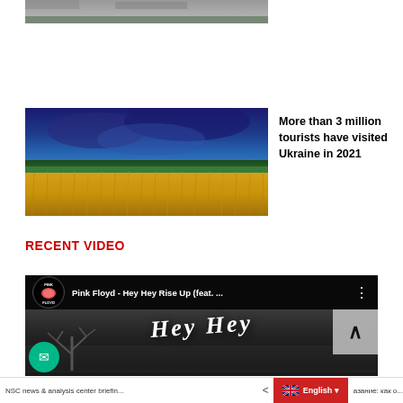[Figure (photo): Partial aerial/landscape photo cropped at top of page, grayscale/muted tones]
[Figure (photo): Ukrainian wheat field with vibrant blue-purple stormy sky and golden wheat in foreground]
More than 3 million tourists have visited Ukraine in 2021
RECENT VIDEO
[Figure (screenshot): YouTube video embed showing Pink Floyd - Hey Hey Rise Up (feat. ...) with Hey Hey stylized text overlay on dark cinematic background]